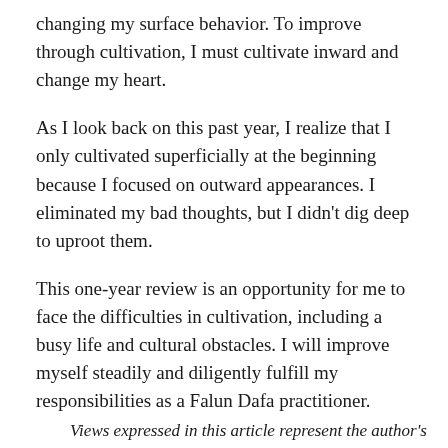changing my surface behavior. To improve through cultivation, I must cultivate inward and change my heart.
As I look back on this past year, I realize that I only cultivated superficially at the beginning because I focused on outward appearances. I eliminated my bad thoughts, but I didn't dig deep to uproot them.
This one-year review is an opportunity for me to face the difficulties in cultivation, including a busy life and cultural obstacles. I will improve myself steadily and diligently fulfill my responsibilities as a Falun Dafa practitioner.
Views expressed in this article represent the author's